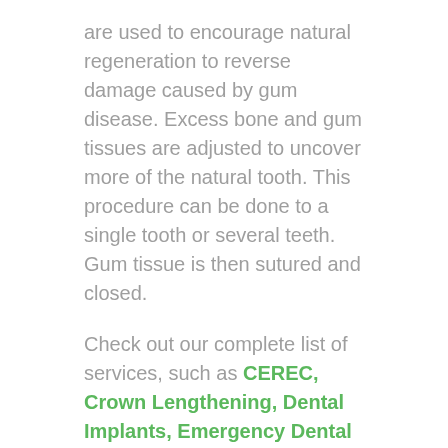are used to encourage natural regeneration to reverse damage caused by gum disease. Excess bone and gum tissues are adjusted to uncover more of the natural tooth. This procedure can be done to a single tooth or several teeth. Gum tissue is then sutured and closed.
Check out our complete list of services, such as CEREC, Crown Lengthening, Dental Implants, Emergency Dental Care, Extractions, Inlays\Onlays, Invisalign, Porcelain Veneers, Root Canals, Teeth Cleaning and Zoom Whitening. Call us to schedule an appointment or request an appointment online.
Periodontal Disease Causes, Symptoms, and Treatments Pamphlet distributed by